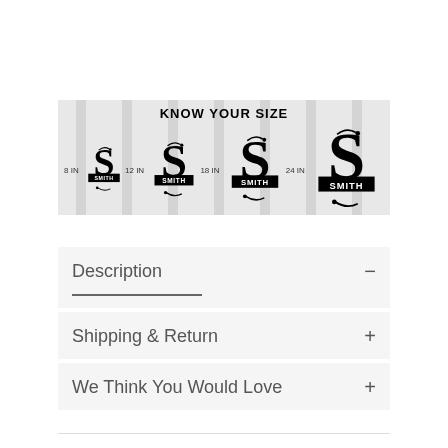[Figure (infographic): Size comparison banner with striped background showing 4 monogram 'S' logos in increasing sizes labeled 8 IN, 12 IN, 18 IN, 24 IN with title KNOW YOUR SIZE]
Description
Shipping & Return
We Think You Would Love